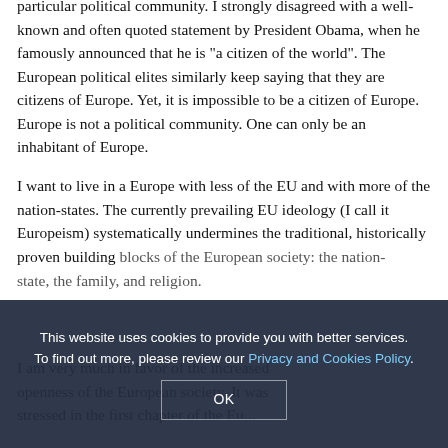particular political community. I strongly disagreed with a well-known and often quoted statement by President Obama, when he famously announced that he is "a citizen of the world". The European political elites similarly keep saying that they are citizens of Europe. Yet, it is impossible to be a citizen of Europe. Europe is not a political community. One can only be an inhabitant of Europe.
I want to live in a Europe with less of the EU and with more of the nation-states. The currently prevailing EU ideology (I call it Europeism) systematically undermines the traditional, historically proven building blocks of the European society: the nation-state, the family, and religion.
I am very much in favor of the increased openness of the European society. It was stressed in the first chapter of the European...
This website uses cookies to provide you with better services. To find out more, please review our Privacy and Cookies Policy.